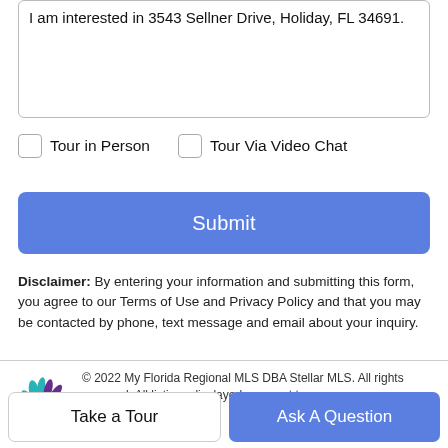I am interested in 3543 Sellner Drive, Holiday, FL 34691.
Tour in Person
Tour Via Video Chat
Submit
Disclaimer: By entering your information and submitting this form, you agree to our Terms of Use and Privacy Policy and that you may be contacted by phone, text message and email about your inquiry.
[Figure (logo): Stellar MLS logo - purple and teal leaf/plant design]
© 2022 My Florida Regional MLS DBA Stellar MLS. All rights reserved. All listings displayed pursuant to
Take a Tour
Ask A Question